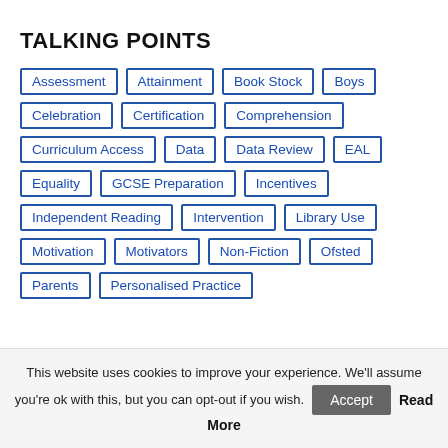TALKING POINTS
Assessment
Attainment
Book Stock
Boys
Celebration
Certification
Comprehension
Curriculum Access
Data
Data Review
EAL
Equality
GCSE Preparation
Incentives
Independent Reading
Intervention
Library Use
Motivation
Motivators
Non-Fiction
Ofsted
Parents
Personalised Practice
This website uses cookies to improve your experience. We'll assume you're ok with this, but you can opt-out if you wish. Accept Read More